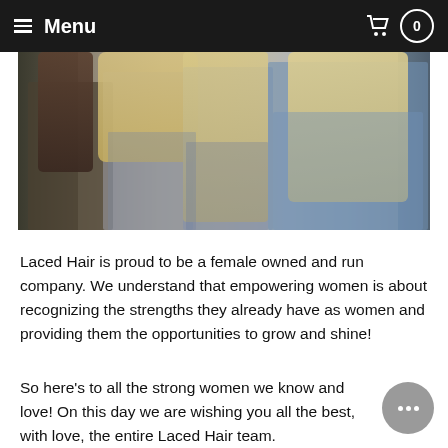≡ Menu  0
[Figure (photo): Photo of multiple women standing together with long hair, wearing denim and casual clothing, viewed from behind/sides against a light background.]
Laced Hair is proud to be a female owned and run company. We understand that empowering women is about recognizing the strengths they already have as women and providing them the opportunities to grow and shine!
So here's to all the strong women we know and love! On this day we are wishing you all the best, with love, the entire Laced Hair team.